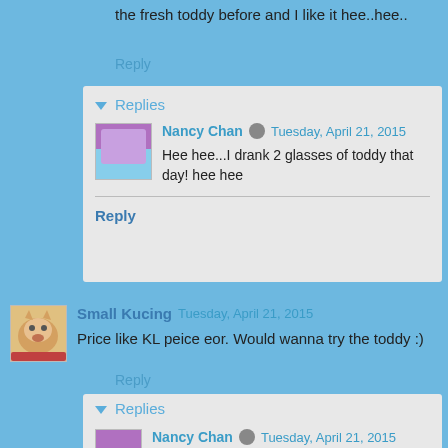the fresh toddy before and I like it hee..hee..
Reply
Replies
Nancy Chan  Tuesday, April 21, 2015
Hee hee...I drank 2 glasses of toddy that day! hee hee
Reply
Small Kucing  Tuesday, April 21, 2015
Price like KL peice eor. Would wanna try the toddy :)
Reply
Replies
Nancy Chan  Tuesday, April 21, 2015